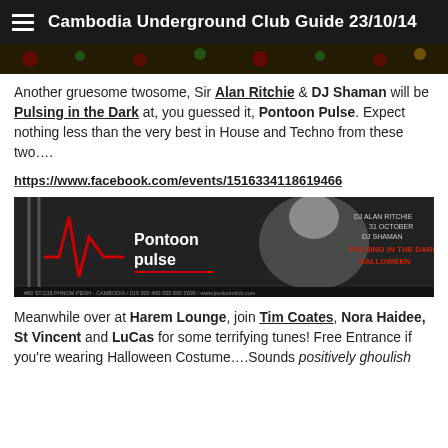Cambodia Underground Club Guide 23/10/14
[Figure (photo): Decorative banner image with floral/skull motif pattern in dark green, red and gold]
Another gruesome twosome, Sir Alan Ritchie & DJ Shaman will be Pulsing in the Dark at, you guessed it, Pontoon Pulse. Expect nothing less than the very best in House and Techno from these two….
https://www.facebook.com/events/1516334118619466
[Figure (photo): Pontoon Pulse Halloween event promotional image showing a vampire woman with blood dripping from mouth, dark moody background with chains. Text reads: DJ Alan Ritchie, 31 October, DJ Shaman, Pulsing in the Dark Halloween, Pontoon Pulse]
Meanwhile over at Harem Lounge, join Tim Coates, Nora Haidee, St Vincent and LuCas for some terrifying tunes! Free Entrance if you're wearing Halloween Costume….Sounds positively ghoulish